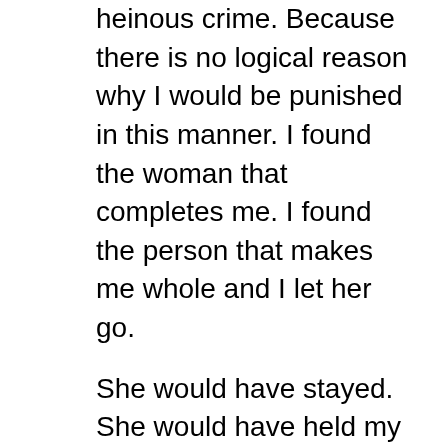heinous crime. Because there is no logical reason why I would be punished in this manner. I found the woman that completes me. I found the person that makes me whole and I let her go.
She would have stayed. She would have held my hand. She would have helped save my soul but I couldn't say the words. I couldn't make myself do it. Even though I knew it to be a simple thing. A brief plea for help and she wouldn't have left me. I wouldn't have been left to live in shadow and night. I could have been whole. Her love was enough to let me believe that I could have been something more.